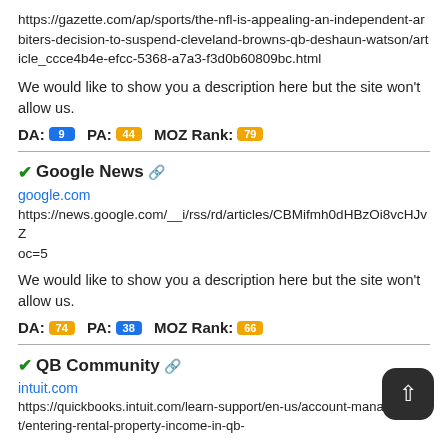https://gazette.com/ap/sports/the-nfl-is-appealing-an-independent-arbiters-decision-to-suspend-cleveland-browns-qb-deshaun-watson/article_ccce4b4e-efcc-5368-a7a3-f3d0b60809bc.html
We would like to show you a description here but the site won't allow us.
DA: 9 PA: 44 MOZ Rank: 79
✓Google News 🔗
google.com
https://news.google.com/__i/rss/rd/articles/CBMifmh0dHBzOi8vcHJvZ… oc=5
We would like to show you a description here but the site won't allow us.
DA: 74 PA: 38 MOZ Rank: 66
✓QB Community 🔗
intuit.com
https://quickbooks.intuit.com/learn-support/en-us/account-management/entering-rental-property-income-in-qb-...